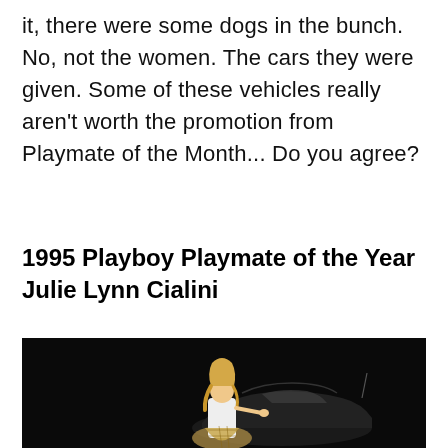it, there were some dogs in the bunch. No, not the women. The cars they were given. Some of these vehicles really aren't worth the promotion from Playmate of the Month... Do you agree?
1995 Playboy Playmate of the Year Julie Lynn Cialini
[Figure (photo): A woman with long blonde hair wearing a white top and plaid skirt posing next to a dark-colored car against a black background.]